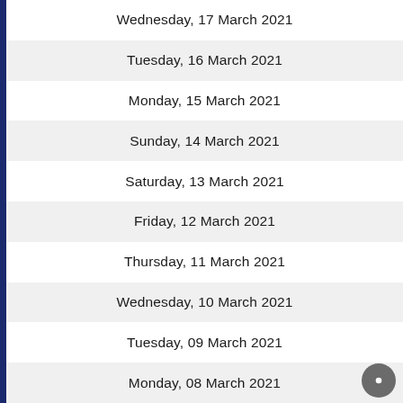Wednesday, 17 March 2021
Tuesday, 16 March 2021
Monday, 15 March 2021
Sunday, 14 March 2021
Saturday, 13 March 2021
Friday, 12 March 2021
Thursday, 11 March 2021
Wednesday, 10 March 2021
Tuesday, 09 March 2021
Monday, 08 March 2021